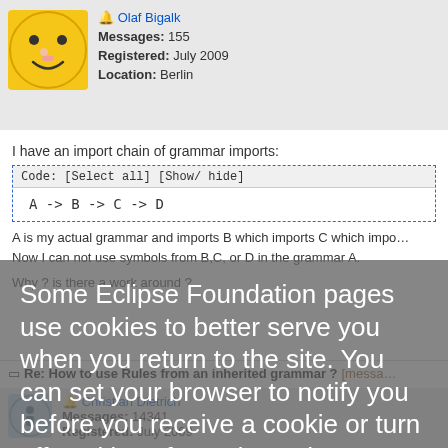[Figure (photo): Smiley face avatar with finger on lips, yellow emoji style]
Olaf Bigalk
Messages: 155
Registered: July 2009
Location: Berlin
I have an import chain of grammar imports:
Code: [Select all] [Show/ hide]
A -> B -> C -> D
A is my actual grammar and imports B which imports C which imports D.
Now I can not use symbols from B,C, or D in the grammar A.
Why ? is there a work around ?
Some Eclipse Foundation pages use cookies to better serve you when you return to the site. You can set your browser to notify you before you receive a cookie or turn off cookies. If you do so, however, some areas of some sites may not function properly. To read Eclipse Foundation Privacy Policy click here
Decline   Allow cookies
Re: How to use Rules from an inherited grammar ? [message]
[Figure (illustration): Info icon avatar - circle with 'i' letter]
Christian Dietrich
Messages: 14341
Registered: July 2009